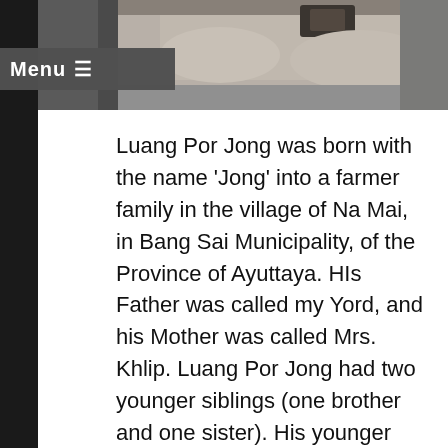[Figure (photo): A close-up photo of fingers holding a small amulet or token, in black and white / grayscale tones.]
Menu ☰
Luang Por Jong was born with the name 'Jong' into a farmer family in the village of Na Mai, in Bang Sai Municipality, of the Province of Ayuttaya. HIs Father was called my Yord, and his Mother was called Mrs. Khlip. Luang Por Jong had two younger siblings (one brother and one sister). His younger brother was called Nil, and his little sister was called Bplik, who was the youngest of the three. It is not known exactly which date Luang Por Jong was born, for there is no official documentation of his birth. But it is